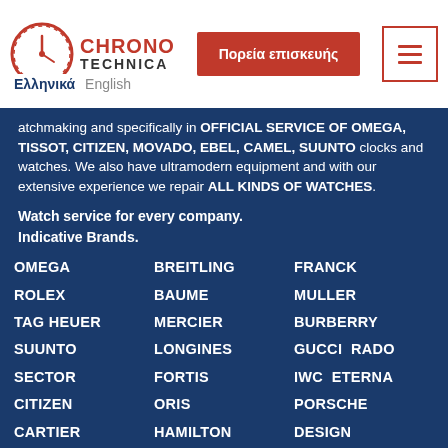Chrono Technica — Navigation bar with logo, 'Πορεία επισκευής' button, and hamburger menu
atchmaking and specifically in OFFICIAL SERVICE OF OMEGA, TISSOT, CITIZEN, MOVADO, EBEL, CAMEL, SUUNTO clocks and watches. We also have ultramodern equipment and with our extensive experience we repair ALL KINDS OF WATCHES.
Watch service for every company.
Indicative Brands.
OMEGA
BREITLING
FRANCK
ROLEX
BAUME
MULLER
TAG HEUER
MERCIER
BURBERRY
SUUNTO
LONGINES
GUCCI  RADO
SECTOR
FORTIS
IWC  ETERNA
CITIZEN
ORIS
PORSCHE
CARTIER
HAMILTON
DESIGN
BVLGARI
TISSOT
JAEGGE LE
ZENITH
TECHNOMARINE
COUTRE
PATEK
AUDEMARS
GIRARD
PHILLIPPE
PICHET
PERREGAUX